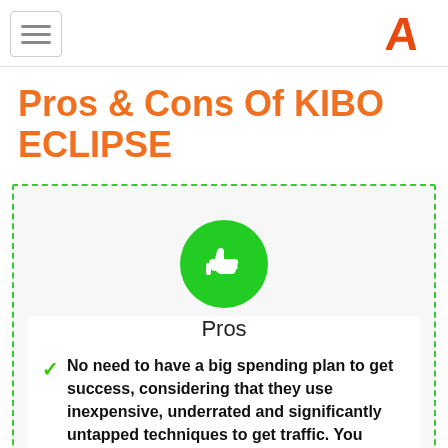[hamburger menu] [logo A]
Pros & Cons Of KIBO ECLIPSE
[Figure (illustration): Green circle with white thumbs-up icon, labeled 'Pros', inside a dashed green border box]
No need to have a big spending plan to get success, considering that they use inexpensive, underrated and significantly untapped techniques to get traffic. You